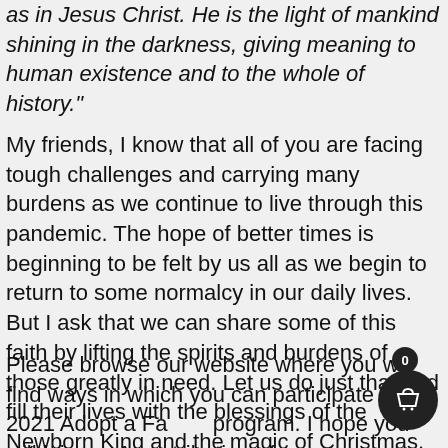as in Jesus Christ. He is the light of mankind shining in the darkness, giving meaning to human existence and to the whole of history."
My friends, I know that all of you are facing tough challenges and carrying many burdens as we continue to live through this pandemic. The hope of better times is beginning to be felt by us all as we begin to return to some normalcy in our daily lives. But I ask that we can share some of this faith by lifting the spirits and burdens of those greatly in need. Let us do just that and fill their lives with the blessings of the Newborn King and the magic of Christmas.
Please browse our website where you will find ways in which you can participate in the 2021 Adopt a Family program. I hope you will join us. A contribution of any size or type will be deeply appreciated. And on behalf of all